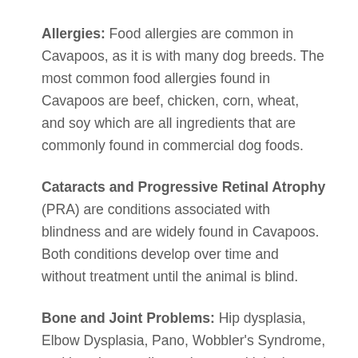Allergies: Food allergies are common in Cavapoos, as it is with many dog breeds. The most common food allergies found in Cavapoos are beef, chicken, corn, wheat, and soy which are all ingredients that are commonly found in commercial dog foods.
Cataracts and Progressive Retinal Atrophy (PRA) are conditions associated with blindness and are widely found in Cavapoos. Both conditions develop over time and without treatment until the animal is blind.
Bone and Joint Problems: Hip dysplasia, Elbow Dysplasia, Pano, Wobbler's Syndrome, and luxating patella are bone and joint issues affecting Cavapoos. These conditions...